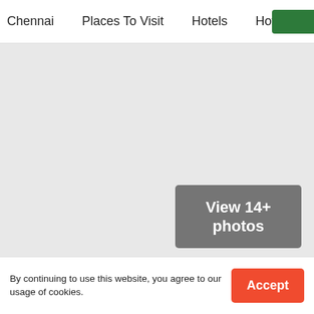Chennai   Places To Visit   Hotels   How to Rea
[Figure (photo): Large photo area showing Pulicat Lake, rendered as light gray placeholder with a 'View 14+ photos' button overlay in the bottom-right corner]
Lying on the boundary of the states of Andhra Pradesh and Tamil Nadu, Pulicat Lake is the second largest lagoon in the country. This fantastic destination is a natural
By continuing to use this website, you agree to our usage of cookies.